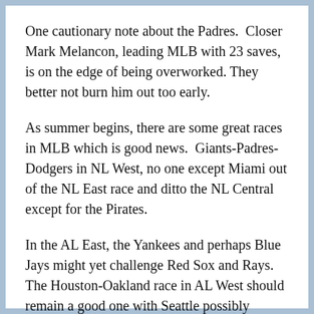One cautionary note about the Padres.  Closer Mark Melancon, leading MLB with 23 saves, is on the edge of being overworked. They better not burn him out too early.
As summer begins, there are some great races in MLB which is good news.  Giants-Padres-Dodgers in NL West, no one except Miami out of the NL East race and ditto the NL Central except for the Pirates.
In the AL East, the Yankees and perhaps Blue Jays might yet challenge Red Sox and Rays.  The Houston-Oakland race in AL West should remain a good one with Seattle possibly hanging around.